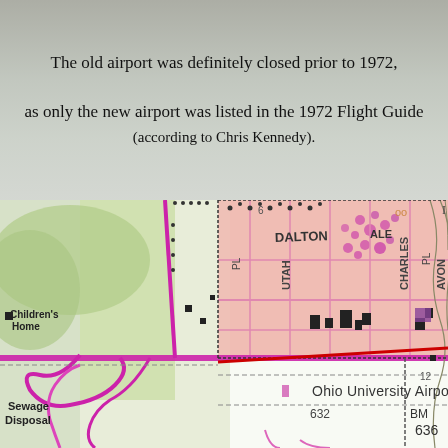The old airport was definitely closed prior to 1972, as only the new airport was listed in the 1972 Flight Guide (according to Chris Kennedy).
[Figure (map): Topographic/street map showing Ohio University Airport area with streets labeled Dalton, Charles, Avon, Utah, PL, Avon PL; Childrens Home label; Sewage Disposal label; BM 636 marker; elevation 632; red diagonal line across map; pink shaded urban area; magenta roads; green contour lines on right side.]